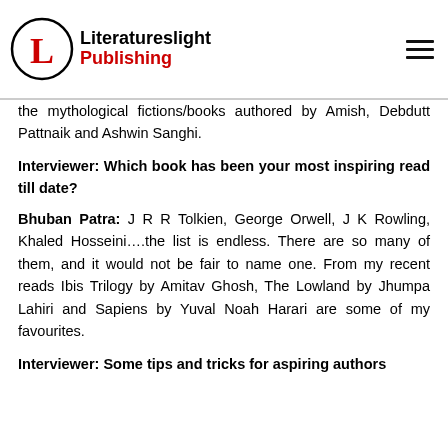[Figure (logo): Literatureslight Publishing logo with a stylized L in a circle and the company name in black and red]
the mythological fictions/books authored by Amish, Debdutt Pattnaik and Ashwin Sanghi.
Interviewer: Which book has been your most inspiring read till date?
Bhuban Patra: J R R Tolkien, George Orwell, J K Rowling, Khaled Hosseini….the list is endless. There are so many of them, and it would not be fair to name one. From my recent reads Ibis Trilogy by Amitav Ghosh, The Lowland by Jhumpa Lahiri and Sapiens by Yuval Noah Harari are some of my favourites.
Interviewer: Some tips and tricks for aspiring authors